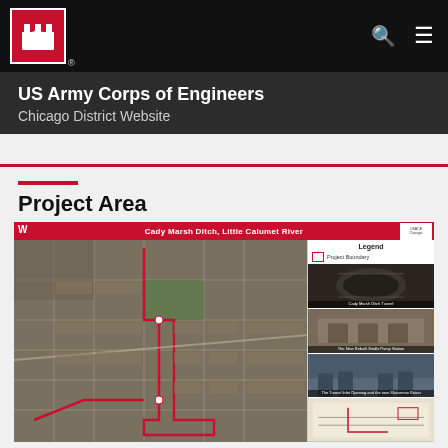US Army Corps of Engineers Chicago District Website
Project Area
[Figure (map): Aerial map titled 'Cady Marsh Ditch, Little Calumet River' showing project boundary in red overlay on satellite imagery of the Chicago district area, with a legend panel on the right side showing project boundary symbol and thumbnail photos of project sites including tunnel, pump station, and other infrastructure.]